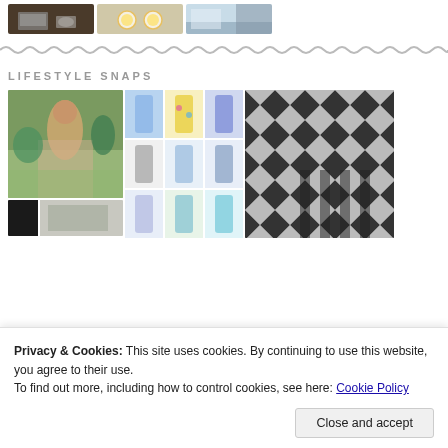[Figure (photo): Three photos in a row: laptop on desk, fried eggs on a plate, beach/ocean scene]
[Figure (illustration): Wavy/zigzag decorative divider line]
LIFESTYLE SNAPS
[Figure (photo): Grid of lifestyle photos: woman in park, grid of swimsuit/clothing items, black and white geometric pattern photo]
Privacy & Cookies: This site uses cookies. By continuing to use this website, you agree to their use.
To find out more, including how to control cookies, see here: Cookie Policy
Close and accept